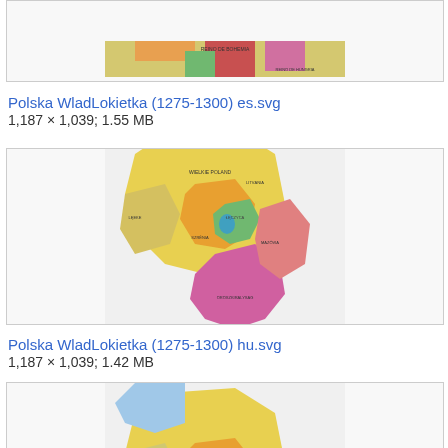[Figure (map): Top portion of a historical map of Poland (Polska WladLokietka), partially visible, clipped at top]
Polska WladLokietka (1275-1300) es.svg
1,187 × 1,039; 1.55 MB
[Figure (map): Historical map of Poland (Polska WladLokietka) 1275-1300, Hungarian version, showing colored regions with labels in Hungarian]
Polska WladLokietka (1275-1300) hu.svg
1,187 × 1,039; 1.42 MB
[Figure (map): Historical map of Poland (Polska WladLokietka) 1275-1300, another version, showing colored regions, partially visible at bottom]